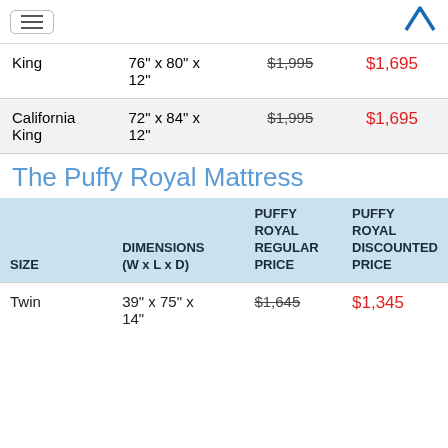[hamburger menu icon] [M logo]
|  |  |  |  |
| --- | --- | --- | --- |
| King | 76" x 80" x 12" | $1,995 | $1,695 |
| California King | 72" x 84" x 12" | $1,995 | $1,695 |
The Puffy Royal Mattress
| SIZE | DIMENSIONS (W x L x D) | PUFFY ROYAL REGULAR PRICE | PUFFY ROYAL DISCOUNTED PRICE |
| --- | --- | --- | --- |
| Twin | 39" x 75" x 14" | $1,645 | $1,345 |